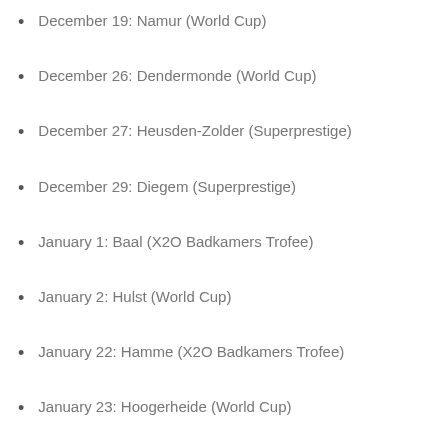December 19: Namur (World Cup)
December 26: Dendermonde (World Cup)
December 27: Heusden-Zolder (Superprestige)
December 29: Diegem (Superprestige)
January 1: Baal (X2O Badkamers Trofee)
January 2: Hulst (World Cup)
January 22: Hamme (X2O Badkamers Trofee)
January 23: Hoogerheide (World Cup)
January 30: World Championships Fayetteville,